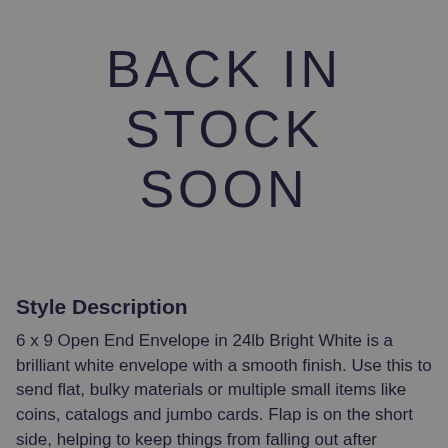[Figure (other): Gray placeholder image area with 'BACK IN STOCK SOON' text overlay]
Style Description
6 x 9 Open End Envelope in 24lb Bright White is a brilliant white envelope with a smooth finish. Use this to send flat, bulky materials or multiple small items like coins, catalogs and jumbo cards. Flap is on the short side, helping to keep things from falling out after opening. Also called a "catalog"